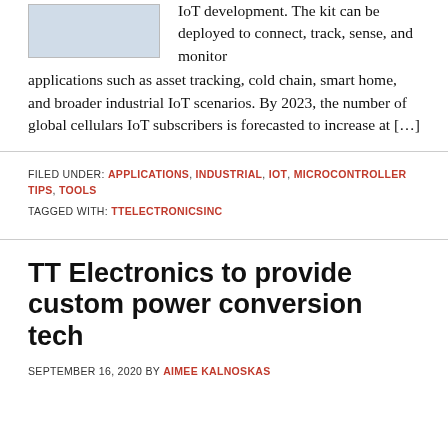[Figure (photo): Small product image of an IoT kit device]
IoT development. The kit can be deployed to connect, track, sense, and monitor applications such as asset tracking, cold chain, smart home, and broader industrial IoT scenarios. By 2023, the number of global cellulars IoT subscribers is forecasted to increase at […]
FILED UNDER: APPLICATIONS, INDUSTRIAL, IOT, MICROCONTROLLER TIPS, TOOLS
TAGGED WITH: TTELECTRONICSINC
TT Electronics to provide custom power conversion tech
SEPTEMBER 16, 2020 BY AIMEE KALNOSKAS